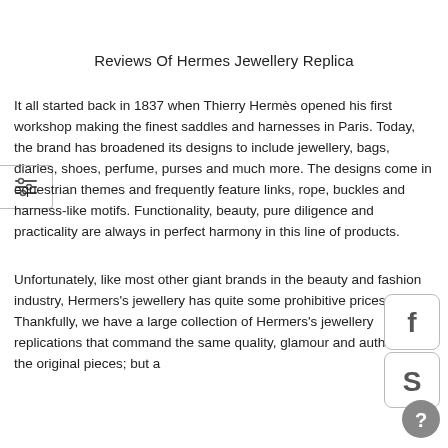Reviews Of Hermes Jewellery Replica
It all started back in 1837 when Thierry Hermès opened his first workshop making the finest saddles and harnesses in Paris. Today, the brand has broadened its designs to include jewellery, bags, diaries, shoes, perfume, purses and much more. The designs come in equestrian themes and frequently feature links, rope, buckles and harness-like motifs. Functionality, beauty, pure diligence and practicality are always in perfect harmony in this line of products.
Unfortunately, like most other giant brands in the beauty and fashion industry, Hermers's jewellery has quite some prohibitive prices. Thankfully, we have a large collection of Hermers's jewellery replications that command the same quality, glamour and authority as the original pieces; but a